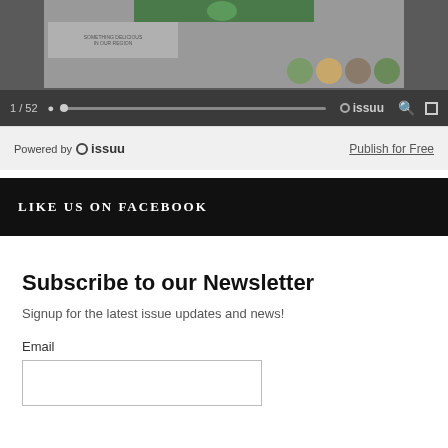[Figure (screenshot): Issuu document embed viewer showing a food-related publication cover with food bowl images, page indicator '1 / 52', progress bar, Issuu branding icons, and a 'Powered by Issuu' bar with 'Publish for Free' link.]
LIKE US ON FACEBOOK
Subscribe to our Newsletter
Signup for the latest issue updates and news!
Email